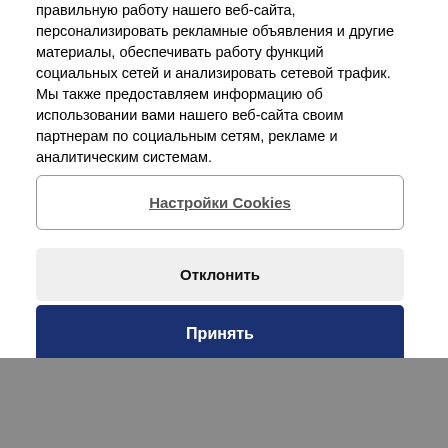правильную работу нашего веб-сайта, персонализировать рекламные объявления и другие материалы, обеспечивать работу функций социальных сетей и анализировать сетевой трафик. Мы также предоставляем информацию об использовании вами нашего веб-сайта своим партнерам по социальным сетям, рекламе и аналитическим системам.
Настройки Cookies
Отклонить
Принять
recommend equipment adjustments or inform your crew of best operating practices that can reduce maintenance costs. In addition, we perform any software updates needed to achieve the latest control standard.